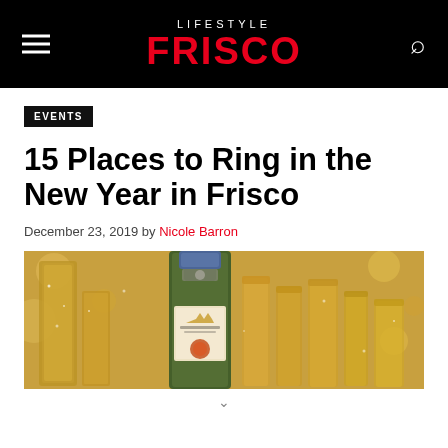LIFESTYLE FRISCO
EVENTS
15 Places to Ring in the New Year in Frisco
December 23, 2019 by Nicole Barron
[Figure (photo): Champagne bottle surrounded by gold glittery glasses and decorations, New Year celebration theme]